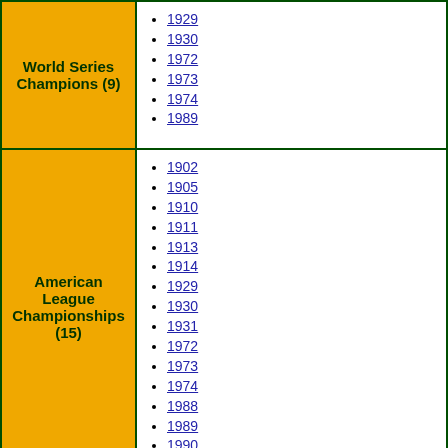| World Series Champions (9) | 1929, 1930, 1972, 1973, 1974, 1989 |
| American League Championships (15) | 1902, 1905, 1910, 1911, 1913, 1914, 1929, 1930, 1931, 1972, 1973, 1974, 1988, 1989, 1990 |
|  | 1971, 1972 |